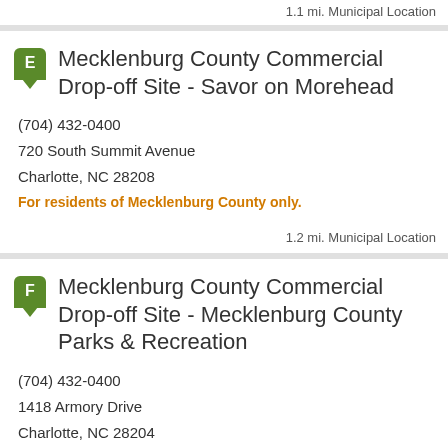1.1 mi. Municipal Location
Mecklenburg County Commercial Drop-off Site - Savor on Morehead
(704) 432-0400
720 South Summit Avenue
Charlotte, NC 28208
For residents of Mecklenburg County only.
1.2 mi. Municipal Location
Mecklenburg County Commercial Drop-off Site - Mecklenburg County Parks & Recreation
(704) 432-0400
1418 Armory Drive
Charlotte, NC 28204
For residents of Mecklenburg County only.